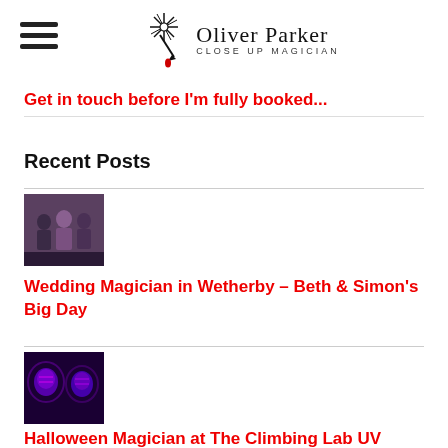Oliver Parker Close Up Magician
Get in touch before I'm fully booked...
Recent Posts
[Figure (photo): Photo of people at a wedding event with a magician]
Wedding Magician in Wetherby – Beth & Simon's Big Day
[Figure (photo): Photo of people at a Halloween UV party with face paint glowing]
Halloween Magician at The Climbing Lab UV Party in